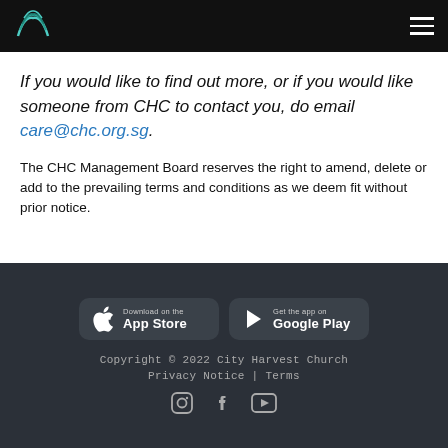City Harvest Church logo and navigation
If you would like to find out more, or if you would like someone from CHC to contact you, do email care@chc.org.sg.
The CHC Management Board reserves the right to amend, delete or add to the prevailing terms and conditions as we deem fit without prior notice.
Download on the App Store | Get the app on Google Play
Copyright © 2022 City Harvest Church
Privacy Notice | Terms